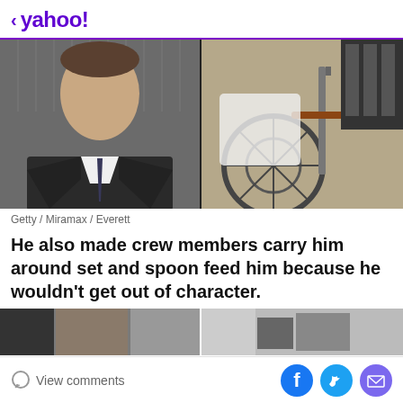< yahoo!
[Figure (photo): Left: man in dark suit and tie; Right: person in wheelchair close-up]
Getty / Miramax / Everett
He also made crew members carry him around set and spoon feed him because he wouldn't get out of character.
[Figure (photo): Partial bottom photos, two side-by-side images cropped]
View comments